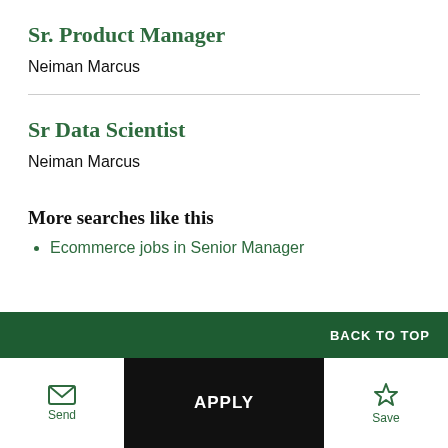Sr. Product Manager
Neiman Marcus
Sr Data Scientist
Neiman Marcus
More searches like this
Ecommerce jobs in Senior Manager
BACK TO TOP
Send  APPLY  Save